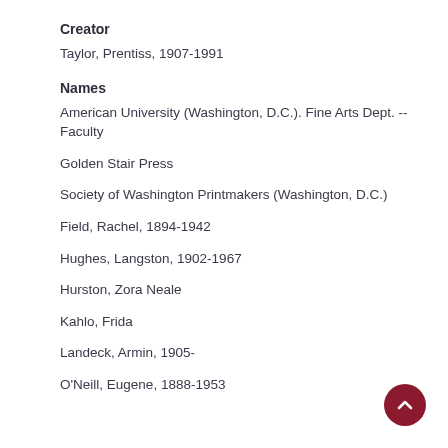Creator
Taylor, Prentiss, 1907-1991
Names
American University (Washington, D.C.). Fine Arts Dept. -- Faculty
Golden Stair Press
Society of Washington Printmakers (Washington, D.C.)
Field, Rachel, 1894-1942
Hughes, Langston, 1902-1967
Hurston, Zora Neale
Kahlo, Frida
Landeck, Armin, 1905-
O'Neill, Eugene, 1888-1953